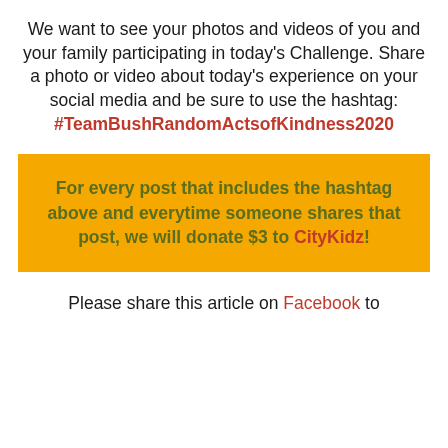We want to see your photos and videos of you and your family participating in today's Challenge. Share a photo or video about today's experience on your social media and be sure to use the hashtag: #TeamBushRandomActsofKindness2020
For every post that includes the hashtag above and everytime someone shares that post, we will donate $3 to CityKidz!
Please share this article on Facebook to